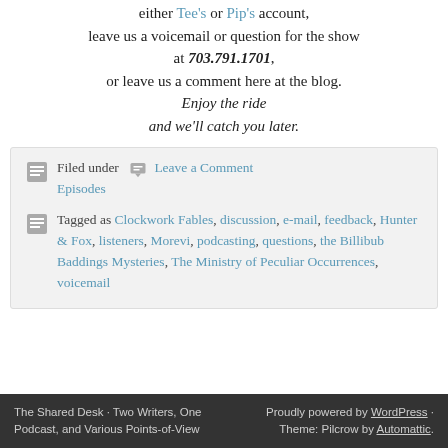either Tee's or Pip's account, leave us a voicemail or question for the show at 703.791.1701, or leave us a comment here at the blog.
Enjoy the ride and we'll catch you later.
Filed under · Leave a Comment · Episodes
Tagged as Clockwork Fables, discussion, e-mail, feedback, Hunter & Fox, listeners, Morevi, podcasting, questions, the Billibub Baddings Mysteries, The Ministry of Peculiar Occurrences, voicemail
The Shared Desk · Two Writers, One Podcast, and Various Points-of-View | Proudly powered by WordPress · Theme: Pilcrow by Automattic.